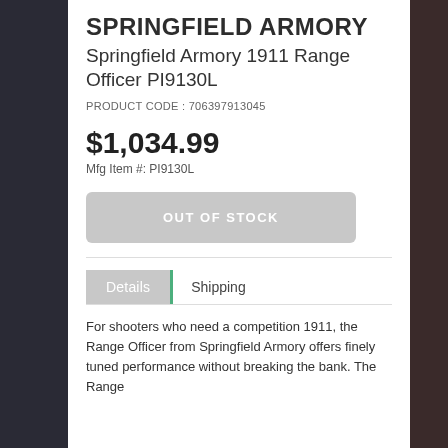SPRINGFIELD ARMORY
Springfield Armory 1911 Range Officer PI9130L
PRODUCT CODE : 706397913045
$1,034.99
Mfg Item #: PI9130L
OUT OF STOCK
Details   Shipping
For shooters who need a competition 1911, the Range Officer from Springfield Armory offers finely tuned performance without breaking the bank. The Range